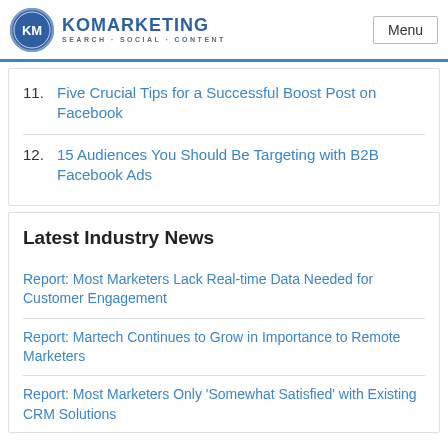KO MARKETING SEARCH · SOCIAL · CONTENT | Menu
11. Five Crucial Tips for a Successful Boost Post on Facebook
12. 15 Audiences You Should Be Targeting with B2B Facebook Ads
Latest Industry News
Report: Most Marketers Lack Real-time Data Needed for Customer Engagement
Report: Martech Continues to Grow in Importance to Remote Marketers
Report: Most Marketers Only 'Somewhat Satisfied' with Existing CRM Solutions